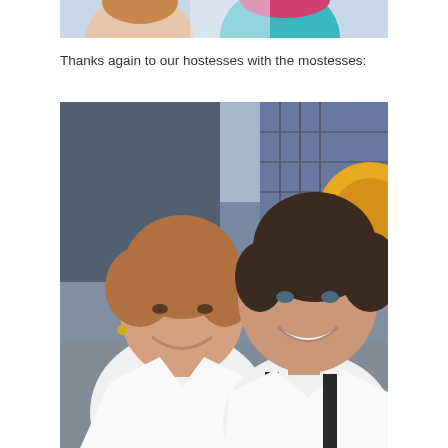[Figure (photo): Partial top crop of two women, with teal/turquoise clothing visible against a bright background]
Thanks again to our hostesses with the mostesses:
[Figure (photo): Two smiling women posing together at what appears to be an amusement park or fair. The woman on the left has short reddish-brown hair and wears a white top; the woman on the right has dark hair pulled back and wears a white top with black straps. A colorful yellow ride or structure is visible in the background.]